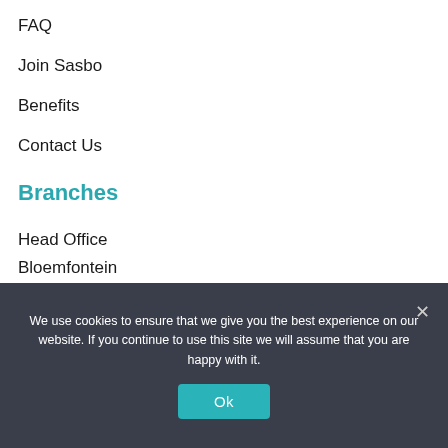FAQ
Join Sasbo
Benefits
Contact Us
Branches
Head Office
Bloemfontein
Cape Town
We use cookies to ensure that we give you the best experience on our website. If you continue to use this site we will assume that you are happy with it.
Ok